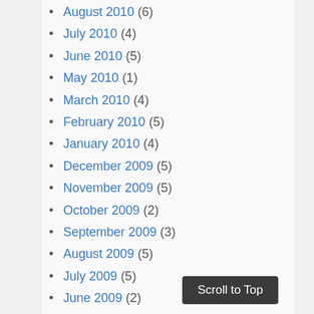August 2010 (6)
July 2010 (4)
June 2010 (5)
May 2010 (1)
March 2010 (4)
February 2010 (5)
January 2010 (4)
December 2009 (5)
November 2009 (5)
October 2009 (2)
September 2009 (3)
August 2009 (5)
July 2009 (5)
June 2009 (2)
March 2009 (3)
February 2009 (2)
January 2009 (1)
December 2008 (5)
Scroll to Top